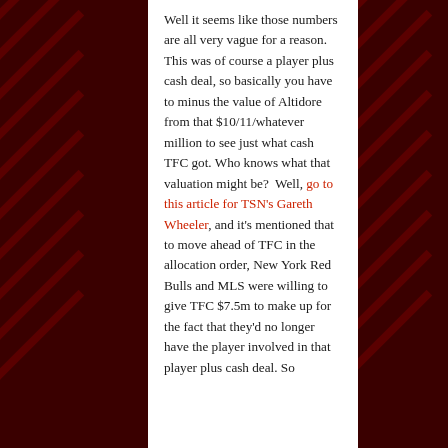Well it seems like those numbers are all very vague for a reason. This was of course a player plus cash deal, so basically you have to minus the value of Altidore from that $10/11/whatever million to see just what cash TFC got. Who knows what that valuation might be?  Well, go to this article for TSN's Gareth Wheeler, and it's mentioned that to move ahead of TFC in the allocation order, New York Red Bulls and MLS were willing to give TFC $7.5m to make up for the fact that they'd no longer have the player involved in that player plus cash deal. So